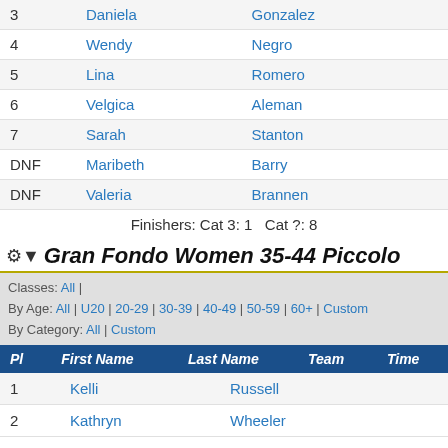| Pl | First Name | Last Name | Team | Time |
| --- | --- | --- | --- | --- |
| 3 | Daniela | Gonzalez |  |  |
| 4 | Wendy | Negro |  |  |
| 5 | Lina | Romero |  |  |
| 6 | Velgica | Aleman |  |  |
| 7 | Sarah | Stanton |  |  |
| DNF | Maribeth | Barry |  |  |
| DNF | Valeria | Brannen |  |  |
Finishers: Cat 3: 1   Cat ?: 8
Gran Fondo Women 35-44 Piccolo
Classes: All | By Age: All | U20 | 20-29 | 30-39 | 40-49 | 50-59 | 60+ | Custom By Category: All | Custom
| Pl | First Name | Last Name | Team | Time |
| --- | --- | --- | --- | --- |
| 1 | Kelli | Russell |  |  |
| 2 | Kathryn | Wheeler |  |  |